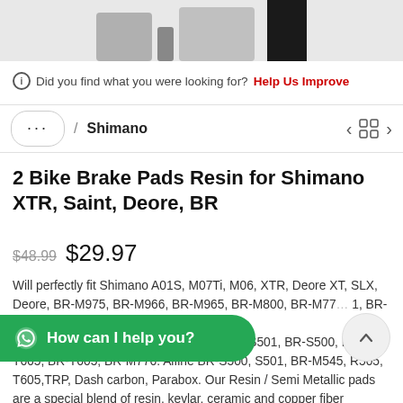[Figure (photo): Product images of bike brake pads, partially visible at top of page]
ℹ Did you find what you were looking for? Help Us Improve
... / Shimano
2 Bike Brake Pads Resin for Shimano XTR, Saint, Deore, BR
$48.99 $29.97
Will perfectly fit Shimano A01S, M07Ti, M06, XTR, Deore XT, SLX, Deore, BR-M975, BR-M966, BR-M965, BR-M800, BR-M77... 1, BR-M596, BR-M59... M565, BR-M545, BR-M535, BR-R505, BR-S501, BR-S500, BR-T665, BR-T605, BR-M776. Alfine BR-S500, S501, BR-M545, R505, T605,TRP, Dash carbon, Parabox. Our Resin / Semi Metallic pads are a special blend of resin, kevlar, ceramic and copper fiber
How can I help you?